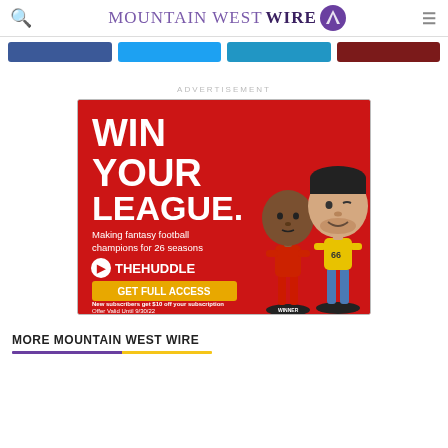Mountain West Wire
[Figure (screenshot): Social media share buttons: Facebook (blue), Twitter (cyan), YouTube (blue), Pinterest (dark red)]
ADVERTISEMENT
[Figure (infographic): Advertisement for The Huddle fantasy football service. Red background with two bobblehead figurines. Text: WIN YOUR LEAGUE. Making fantasy football champions for 26 seasons. THE HUDDLE. GET FULL ACCESS. New subscribers get $10 off your subscription. Offer Valid Until 9/30/22.]
MORE MOUNTAIN WEST WIRE